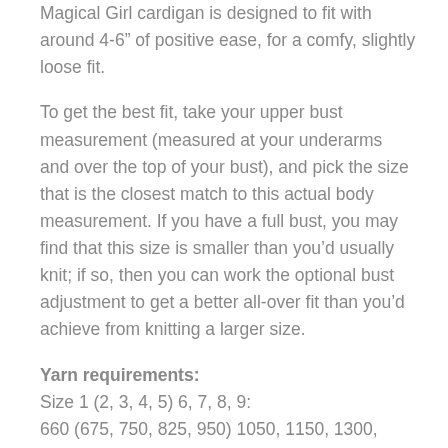Magical Girl cardigan is designed to fit with around 4-6" of positive ease, for a comfy, slightly loose fit.
To get the best fit, take your upper bust measurement (measured at your underarms and over the top of your bust), and pick the size that is the closest match to this actual body measurement. If you have a full bust, you may find that this size is smaller than you’d usually knit; if so, then you can work the optional bust adjustment to get a better all-over fit than you’d achieve from knitting a larger size.
Yarn requirements: Size 1 (2, 3, 4, 5) 6, 7, 8, 9: 660 (675, 750, 825, 950) 1050, 1150, 1300, 1375 m / 722 (740, 820, 900, 1040) 1150, 1260, 1425, 1500) yds of Aran/Worsted weight yarn.